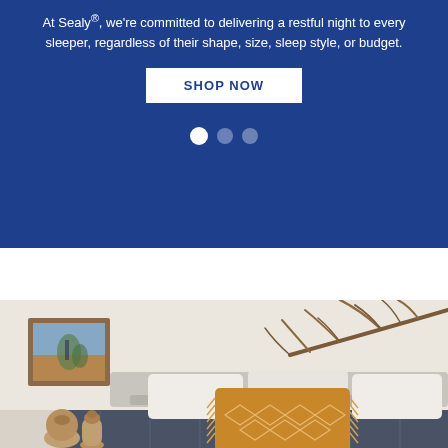At Sealy®, we're committed to delivering a restful night to every sleeper, regardless of their shape, size, sleep style, or budget.
SHOP NOW
[Figure (photo): Bedroom scene with a bed featuring white and mustard/gold pillows, decorative branches on the wall, a framed landscape painting, and ceramic vases on the floor.]